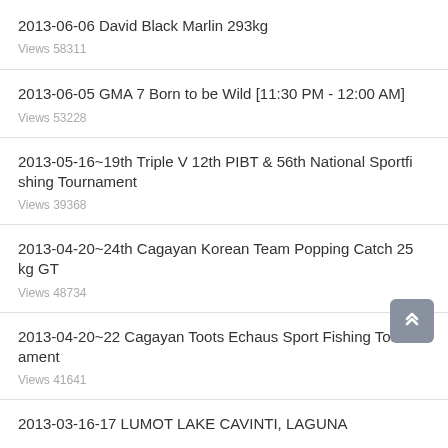2013-06-06 David Black Marlin 293kg
Views 58311
2013-06-05 GMA 7 Born to be Wild [11:30 PM - 12:00 AM]
Views 53228
2013-05-16~19th Triple V 12th PIBT & 56th National Sportfishing Tournament
Views 39368
2013-04-20~24th Cagayan Korean Team Popping Catch 25 kg GT
Views 48734
2013-04-20~22 Cagayan Toots Echaus Sport Fishing Tournament
Views 41641
2013-03-16-17 LUMOT LAKE CAVINTI, LAGUNA